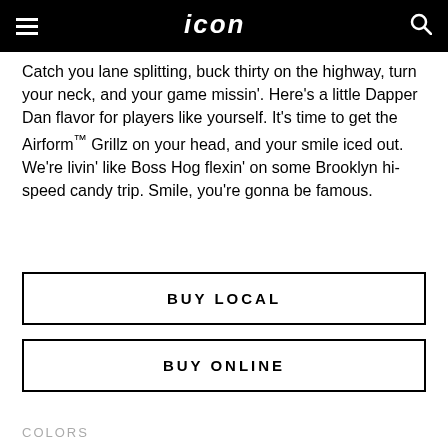icon (logo), menu, search
Catch you lane splitting, buck thirty on the highway, turn your neck, and your game missin'. Here's a little Dapper Dan flavor for players like yourself. It's time to get the Airform™ Grillz on your head, and your smile iced out. We're livin' like Boss Hog flexin' on some Brooklyn hi-speed candy trip. Smile, you're gonna be famous.
BUY LOCAL
BUY ONLINE
COLORS